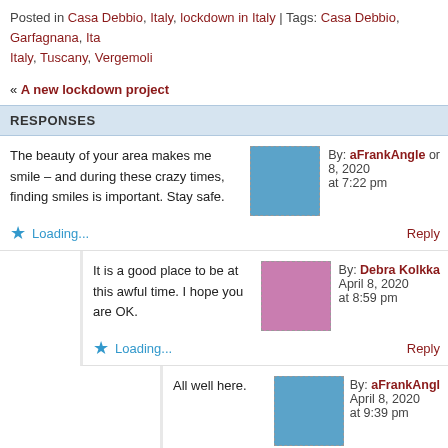Posted in Casa Debbio, Italy, lockdown in Italy | Tags: Casa Debbio, Garfagnana, Italy, Italy, Tuscany, Vergemoli
« A new lockdown project
RESPONSES
The beauty of your area makes me smile – and during these crazy times, finding smiles is important. Stay safe.
By: aFrankAngle on 8, 2020 at 7:22 pm
Loading...
Reply
It is a good place to be at this awful time. I hope you are OK.
By: Debra Kolkka April 8, 2020 at 8:59 pm
Loading...
Reply
All well here.
By: aFrankAngle April 8, 2020 at 9:39 pm
Loading...